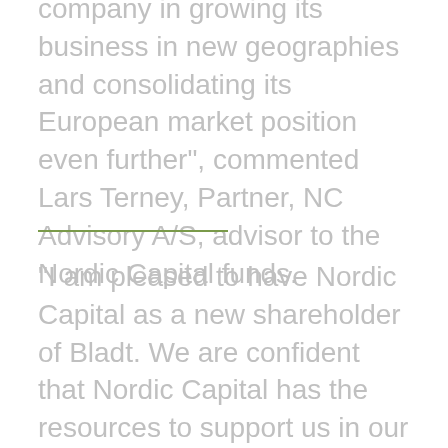company in growing its business in new geographies and consolidating its European market position even further", commented Lars Terney, Partner, NC Advisory A/S, advisor to the Nordic Capital funds.
"I am pleased to have Nordic Capital as a new shareholder of Bladt. We are confident that Nordic Capital has the resources to support us in our continued focus to meet ever increasing market and